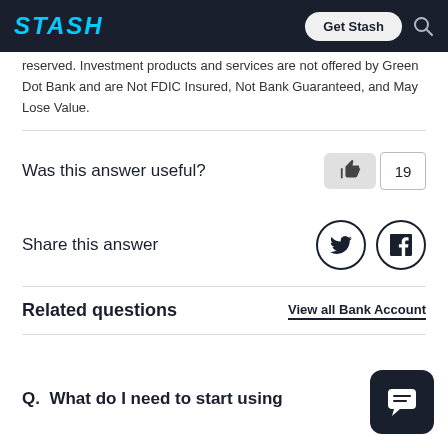STASH | Get Stash
reserved. Investment products and services are not offered by Green Dot Bank and are Not FDIC Insured, Not Bank Guaranteed, and May Lose Value.
Was this answer useful?
Share this answer
Related questions
View all Bank Account
Q.  What do I need to start using